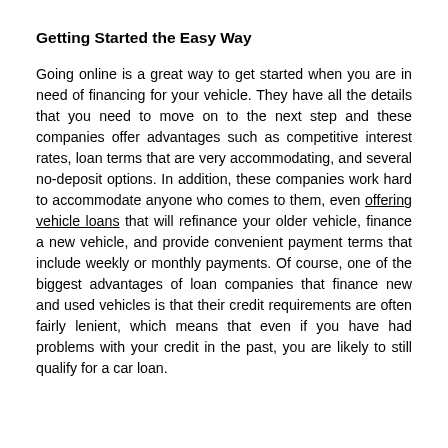Getting Started the Easy Way
Going online is a great way to get started when you are in need of financing for your vehicle. They have all the details that you need to move on to the next step and these companies offer advantages such as competitive interest rates, loan terms that are very accommodating, and several no-deposit options. In addition, these companies work hard to accommodate anyone who comes to them, even offering vehicle loans that will refinance your older vehicle, finance a new vehicle, and provide convenient payment terms that include weekly or monthly payments. Of course, one of the biggest advantages of loan companies that finance new and used vehicles is that their credit requirements are often fairly lenient, which means that even if you have had problems with your credit in the past, you are likely to still qualify for a car loan.